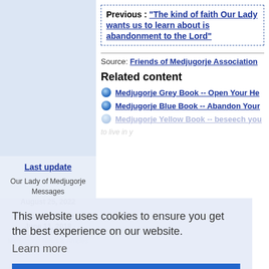Previous : "The kind of faith Our Lady wants us to learn about is abandonment to the Lord"
Source: Friends of Medjugorje Association
Related content
Medjugorje Grey Book -- Open Your He...
Medjugorje Blue Book -- Abandon Your...
Medjugorje Yellow Book -- ...beseech you... (faded)
Last update
Our Lady of Medjugorje Messages
August 25, 2022
Medjugorje Videos
June 11, 2018
This website uses cookies to ensure you get the best experience on our website.
Learn more
Got it!